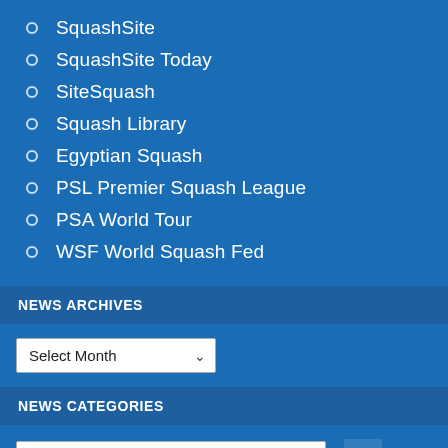SquashSite
SquashSite Today
SiteSquash
Squash Library
Egyptian Squash
PSL Premier Squash League
PSA World Tour
WSF World Squash Fed
NEWS ARCHIVES
Select Month
NEWS CATEGORIES
Select Category